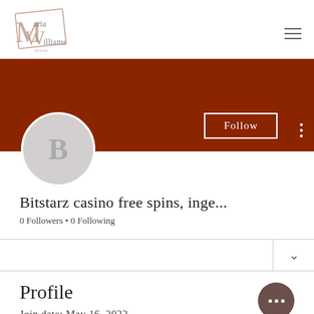[Figure (logo): Maria Williams logo with stylized M and W letters in a diamond/rectangle shape]
[Figure (screenshot): User profile cover banner in dark red/brown color with Follow button and avatar showing letter B]
Bitstarz casino free spins, inge...
0 Followers • 0 Following
Profile
Join date: May 16, 2022